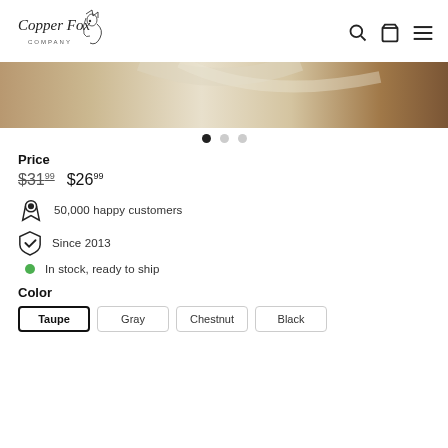[Figure (logo): Copper Fox Company logo with stylized fox illustration and cursive text]
[Figure (photo): Hero product image showing white fabric or clothing on a wooden surface, warm toned]
Price
$31.99  $26.99
50,000 happy customers
Since 2013
In stock, ready to ship
Color
Taupe  Gray  Chestnut  Black